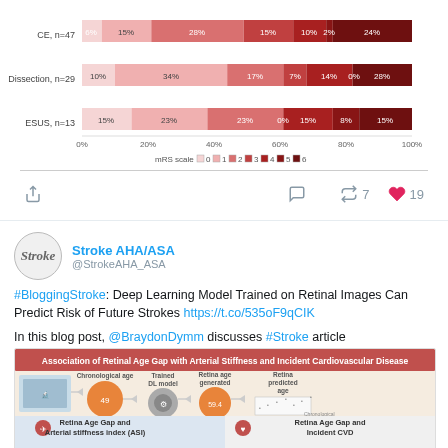[Figure (stacked-bar-chart): mRS scale by stroke etiology]
Stroke AHA/ASA @StrokeAHA_ASA
#BloggingStroke: Deep Learning Model Trained on Retinal Images Can Predict Risk of Future Strokes https://t.co/535oF9qCIK
In this blog post, @BraydonDymm discusses #Stroke article https://t.co/hRKc1do5Ww https://t.co/jVpfCOR0AE
[Figure (infographic): Association of Retinal Age Gap with Arterial Stiffness and Incident Cardiovascular Disease infographic showing workflow from retinal image to chronological age to trained DL model to retina age generated to retina predicted age, then showing Retina Age Gap and Arterial stiffness index (ASI) and Retina Age Gap and Incident CVD.]